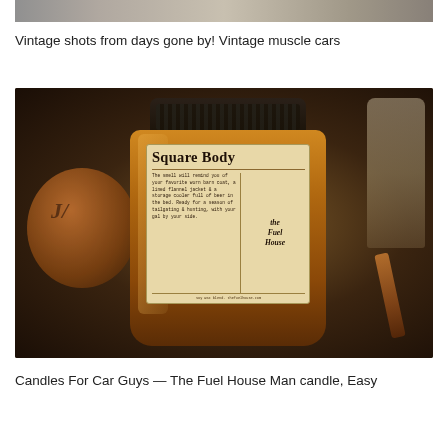[Figure (photo): Partial view of vintage muscle cars, cropped at top of page]
Vintage shots from days gone by! Vintage muscle cars
[Figure (photo): A Square Body candle from The Fuel House in an amber glass jar with a black lid, sitting on a wooden surface with a wooden disc and bottle in the background]
Candles For Car Guys — The Fuel House Man candle, Easy